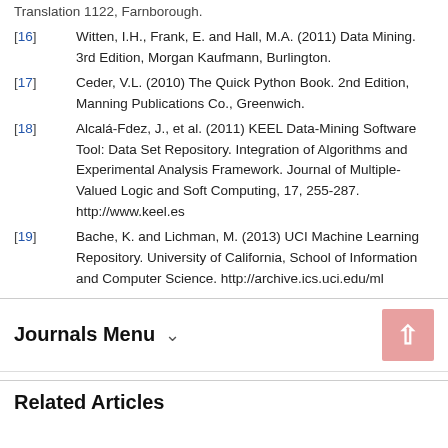[16] Witten, I.H., Frank, E. and Hall, M.A. (2011) Data Mining. 3rd Edition, Morgan Kaufmann, Burlington.
[17] Ceder, V.L. (2010) The Quick Python Book. 2nd Edition, Manning Publications Co., Greenwich.
[18] Alcalá-Fdez, J., et al. (2011) KEEL Data-Mining Software Tool: Data Set Repository. Integration of Algorithms and Experimental Analysis Framework. Journal of Multiple-Valued Logic and Soft Computing, 17, 255-287. http://www.keel.es
[19] Bache, K. and Lichman, M. (2013) UCI Machine Learning Repository. University of California, School of Information and Computer Science. http://archive.ics.uci.edu/ml
Journals Menu
Related Articles